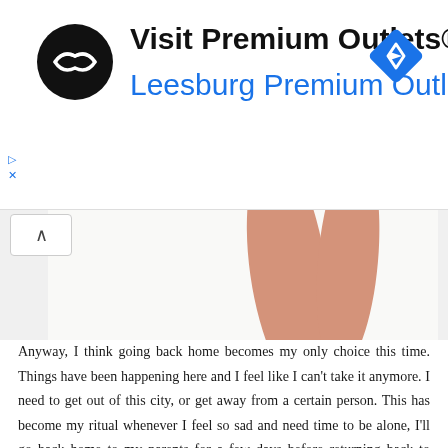[Figure (logo): Advertisement banner for Visit Premium Outlets - Leesburg Premium Outlets with black circular logo and blue diamond navigation icon]
[Figure (photo): Close-up photo of a person's legs wearing white sneakers/tennis shoes, sitting on a white tiled floor]
Anyway, I think going back home becomes my only choice this time. Things have been happening here and I feel like I can't take it anymore. I need to get out of this city, or get away from a certain person. This has become my ritual whenever I feel so sad and need time to be alone, I'll go back home to my parents for a few days before returning back to Jogja. This place has becomes my home for the past one year, but you know that feeling when you really have to go away to calm